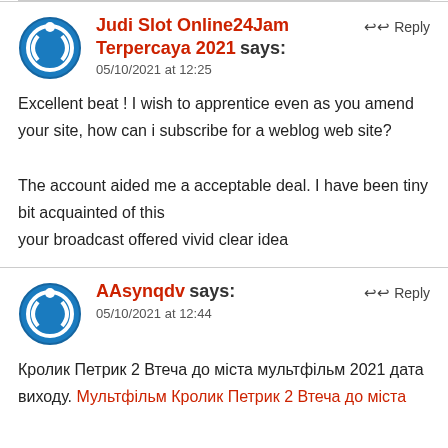Judi Slot Online24Jam Terpercaya 2021 says: 05/10/2021 at 12:25 — Reply
Excellent beat ! I wish to apprentice even as you amend your site, how can i subscribe for a weblog web site?

The account aided me a acceptable deal. I have been tiny bit acquainted of this your broadcast offered vivid clear idea
AAsynqdv says: 05/10/2021 at 12:44 — Reply
Кролик Петрик 2 Втеча до міста мультфільм 2021 дата виходу. Мультфільм Кролик Петрик 2 Втеча до міста